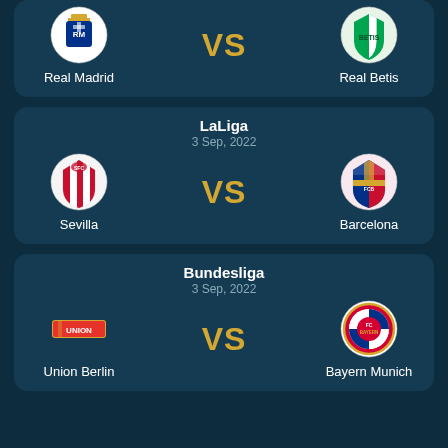[Figure (infographic): Partial match card showing Real Madrid vs Real Betis football match]
[Figure (infographic): LaLiga match card: Sevilla vs Barcelona, 3 Sep, 2022]
[Figure (infographic): Bundesliga match card: Union Berlin vs Bayern Munich, 3 Sep, 2022]